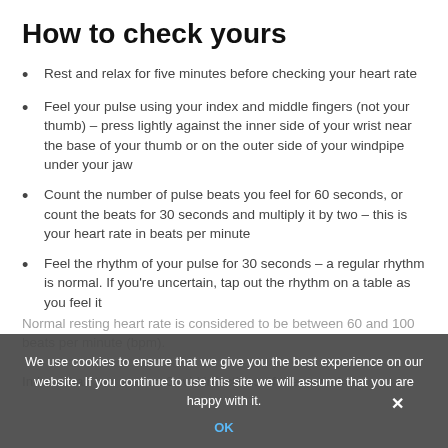How to check yours
Rest and relax for five minutes before checking your heart rate
Feel your pulse using your index and middle fingers (not your thumb) – press lightly against the inner side of your wrist near the base of your thumb or on the outer side of your windpipe under your jaw
Count the number of pulse beats you feel for 60 seconds, or count the beats for 30 seconds and multiply it by two – this is your heart rate in beats per minute
Feel the rhythm of your pulse for 30 seconds – a regular rhythm is normal. If you're uncertain, tap out the rhythm on a table as you feel it
Normal resting heart rate is considered to be between 60 and 100 beats per minute (bpm).
In less than two weeks, Covid infections of the new strain
We use cookies to ensure that we give you the best experience on our website. If you continue to use this site we will assume that you are happy with it.